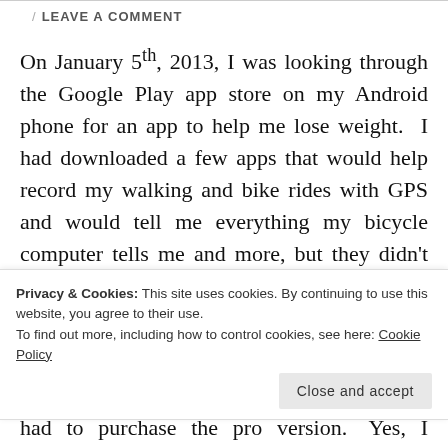/ LEAVE A COMMENT
On January 5th, 2013, I was looking through the Google Play app store on my Android phone for an app to help me lose weight.  I had downloaded a few apps that would help record my walking and bike rides with GPS and would tell me everything my bicycle computer tells me and more, but they didn't help me record my eating habits or tell me what to eat.  The front page of the app store had a featured app called Noom Coach.  I
Privacy & Cookies: This site uses cookies. By continuing to use this website, you agree to their use.
To find out more, including how to control cookies, see here: Cookie Policy
had to purchase the pro version.  Yes, I was that